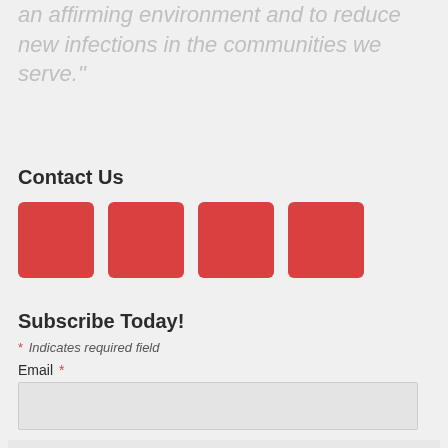an affirming environment and to reduce new infections in the communities we serve."
Contact Us
[Figure (other): Four red square social media icon buttons arranged in a row]
Subscribe Today!
* Indicates required field
Email *
[Figure (other): Email input text field]
I agree to receiving marketing and promotional materials
Submit